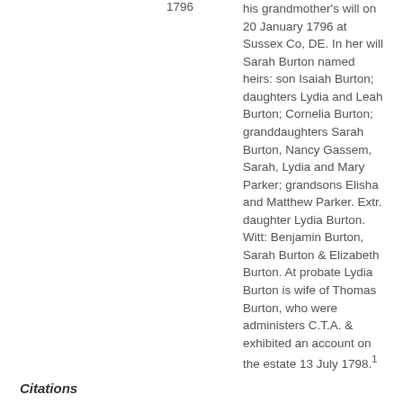1796 his grandmother's will on 20 January 1796 at Sussex Co, DE. In her will Sarah Burton named heirs: son Isaiah Burton; daughters Lydia and Leah Burton; Cornelia Burton; granddaughters Sarah Burton, Nancy Gassem, Sarah, Lydia and Mary Parker; grandsons Elisha and Matthew Parker. Extr. daughter Lydia Burton. Witt: Benjamin Burton, Sarah Burton & Elizabeth Burton. At probate Lydia Burton is wife of Thomas Burton, who were administers C.T.A. & exhibited an account on the estate 13 July 1798.1
Citations